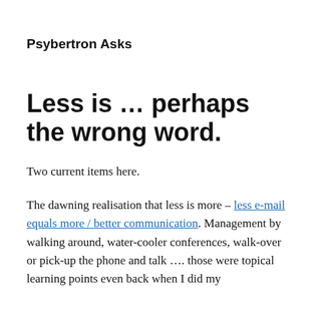Psybertron Asks
Less is … perhaps the wrong word.
Two current items here.
The dawning realisation that less is more – less e-mail equals more / better communication. Management by walking around, water-cooler conferences, walk-over or pick-up the phone and talk …. those were topical learning points even back when I did my